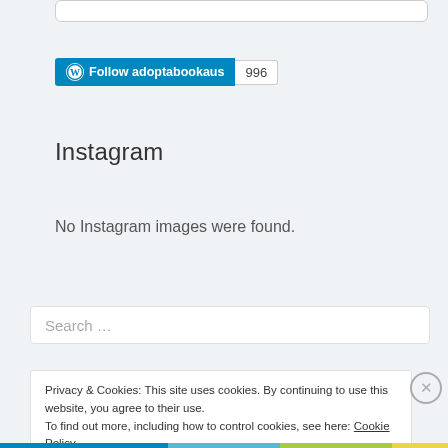[Figure (screenshot): Top portion of a rounded rectangle input box partially visible at top of page]
[Figure (screenshot): WordPress Follow button with label 'Follow adoptabookaus' and follower count badge showing 996]
Instagram
No Instagram images were found.
[Figure (screenshot): Search input field with placeholder text 'Search ...']
Privacy & Cookies: This site uses cookies. By continuing to use this website, you agree to their use.
To find out more, including how to control cookies, see here: Cookie Policy
Close and accept